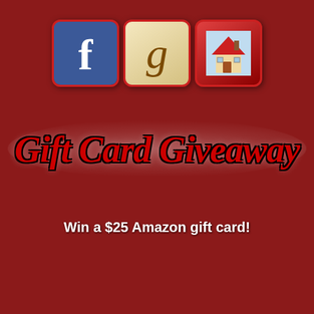[Figure (logo): Three icon buttons in a row: Facebook icon (blue with white f), Google icon (cream/beige with brown italic g), and a home/house icon (red background with house illustration). Each styled as a 3D button with red border and shadow.]
Gift Card Giveaway
Win a $25 Amazon gift card!